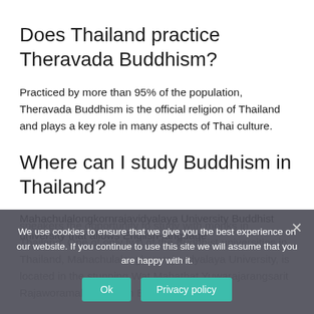Does Thailand practice Theravada Buddhism?
Practiced by more than 95% of the population, Theravada Buddhism is the official religion of Thailand and plays a key role in many aspects of Thai culture.
Where can I study Buddhism in Thailand?
Mahachulalongkornrajavidyalaya University Buddhist university that allows English-language speakers the opportunity to study with monks in Thailand. One of only two of the Buddhist universities in Thailand, Mahachulalongkornrajavidyalaya University, is located in the stunning Wat Mahathat Yuwarajarangsarit Rajaworamahavihara in Bangkok.
We use cookies to ensure that we give you the best experience on our website. If you continue to use this site we will assume that you are happy with it.